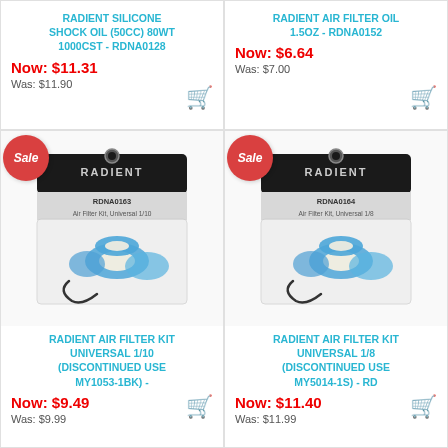RADIENT SILICONE SHOCK OIL (50CC) 80WT 1000CST - RDNA0128
Now: $11.31
Was: $11.90
RADIENT AIR FILTER OIL 1.5OZ - RDNA0152
Now: $6.64
Was: $7.00
[Figure (photo): Radient Air Filter Kit Universal 1/10 product in packaging (RDNA0163), blue and white filter with wire, Sale badge overlay]
RADIENT AIR FILTER KIT UNIVERSAL 1/10 (DISCONTINUED USE MY1053-1BK) -
Now: $9.49
Was: $9.99
[Figure (photo): Radient Air Filter Kit Universal 1/8 product in packaging (RDNA0164), blue and white filter with wire, Sale badge overlay]
RADIENT AIR FILTER KIT UNIVERSAL 1/8 (DISCONTINUED USE MY5014-1S) - RD
Now: $11.40
Was: $11.99